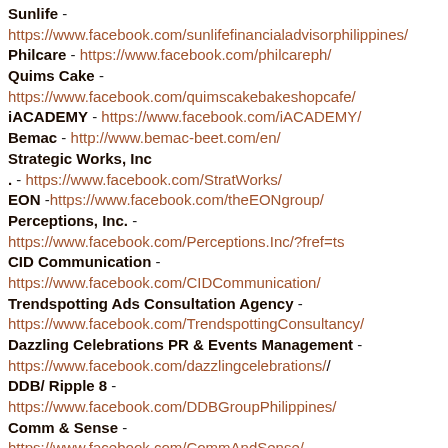Sunlife - https://www.facebook.com/sunlifefinancialadvisorphilippines/
Philcare - https://www.facebook.com/philcareph/
Quims Cake - https://www.facebook.com/quimscakebakeshopcafe/
iACADEMY - https://www.facebook.com/iACADEMY/
Bemac - http://www.bemac-beet.com/en/
Strategic Works, Inc . - https://www.facebook.com/StratWorks/
EON - https://www.facebook.com/theEONgroup/
Perceptions, Inc. - https://www.facebook.com/Perceptions.Inc/?fref=ts
CID Communication - https://www.facebook.com/CIDCommunication/
Trendspotting Ads Consultation Agency - https://www.facebook.com/TrendspottingConsultancy/
Dazzling Celebrations PR & Events Management - https://www.facebook.com/dazzlingcelebrations/
DDB/ Ripple 8 - https://www.facebook.com/DDBGroupPhilippines/
Comm & Sense - https://www.facebook.com/CommAndSense/